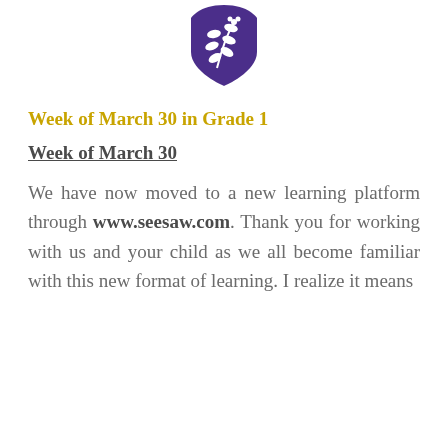[Figure (logo): Purple shield logo with white olive branch design, school emblem]
Week of March 30 in Grade 1
Week of March 30
We have now moved to a new learning platform through www.seesaw.com. Thank you for working with us and your child as we all become familiar with this new format of learning. I realize it means